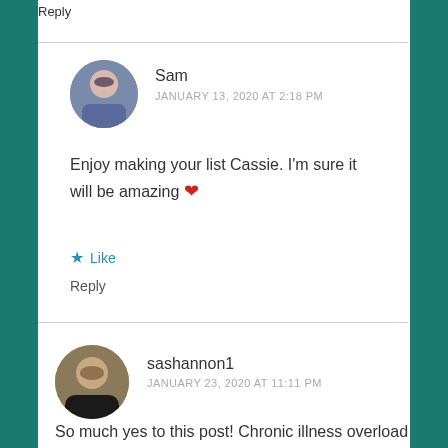Reply
Sam
JANUARY 13, 2020 AT 2:18 PM
Enjoy making your list Cassie. I'm sure it will be amazing ❤
★ Like
Reply
sashannon1
JANUARY 23, 2020 AT 11:11 PM
So much yes to this post! Chronic illness overload is